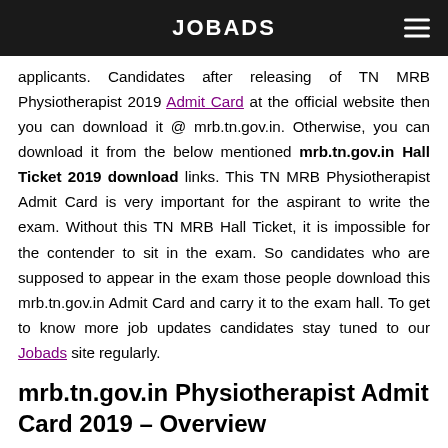JOBADS
applicants. Candidates after releasing of TN MRB Physiotherapist 2019 Admit Card at the official website then you can download it @ mrb.tn.gov.in. Otherwise, you can download it from the below mentioned mrb.tn.gov.in Hall Ticket 2019 download links. This TN MRB Physiotherapist Admit Card is very important for the aspirant to write the exam. Without this TN MRB Hall Ticket, it is impossible for the contender to sit in the exam. So candidates who are supposed to appear in the exam those people download this mrb.tn.gov.in Admit Card and carry it to the exam hall. To get to know more job updates candidates stay tuned to our Jobads site regularly.
mrb.tn.gov.in Physiotherapist Admit Card 2019 – Overview